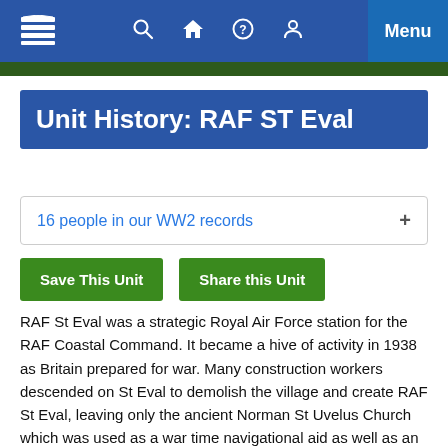Navigation bar with logo, search, home, help, account icons and Menu button
Unit History: RAF ST Eval
16 people in our WW2 records
Save This Unit | Share this Unit
RAF St Eval was a strategic Royal Air Force station for the RAF Coastal Command.  It became a hive of activity in 1938 as Britain prepared for war. Many construction workers descended on St Eval to demolish the village and create RAF St Eval, leaving only the ancient Norman St Uvelus Church which was used as a war time navigational aid as well as an observation post.  The church became known as The Cathedral of Coastal command.  St Eval's primary role was to provide anti-submarine and anti-shipping